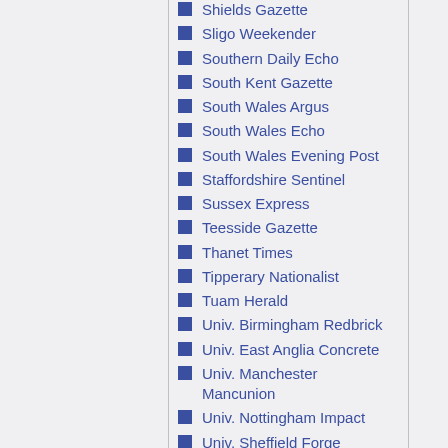Shields Gazette
Sligo Weekender
Southern Daily Echo
South Kent Gazette
South Wales Argus
South Wales Echo
South Wales Evening Post
Staffordshire Sentinel
Sussex Express
Teesside Gazette
Thanet Times
Tipperary Nationalist
Tuam Herald
Univ. Birmingham Redbrick
Univ. East Anglia Concrete
Univ. Manchester Mancunion
Univ. Nottingham Impact
Univ. Sheffield Forge
Warwick Boar
Western Daily Press
Western Mail
Western Morning News
Yorkshire Evening Press
Yorkshire Post